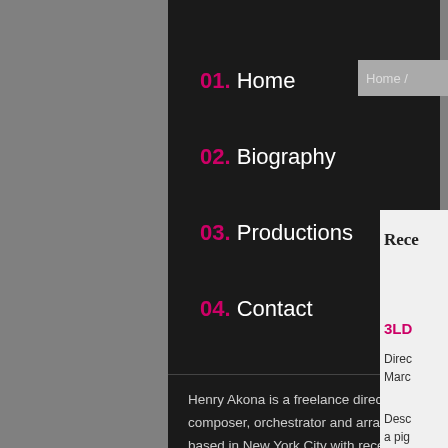01. Home
02. Biography
03. Productions
04. Contact
Home /
Henry Akona is a freelance director, composer, orchestrator and arranger based in New York City with recent or upcoming productions in Melbourne, Australia; Cambridge, Massachusetts; Chicago; Los Angeles and New York.
Rece
3LD
Direc Marc
Desc a pig interv The n celeb